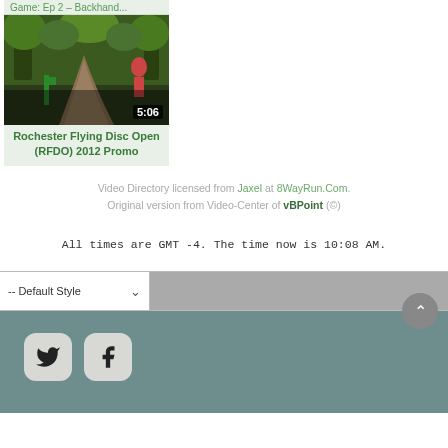[Figure (screenshot): Video thumbnail for Rochester Flying Disc Open (RFDO) 2012 Promo showing forest path scene with duration 5:06]
Rochester Flying Disc Open (RFDO) 2012 Promo
Video Directory licensed from Jaxel at 8WayRun.Com. Original version from Video-Center of vBPoint (©)
All times are GMT -4. The time now is 10:08 AM.
-- Default Style (dropdown), social icons: Twitter, Facebook